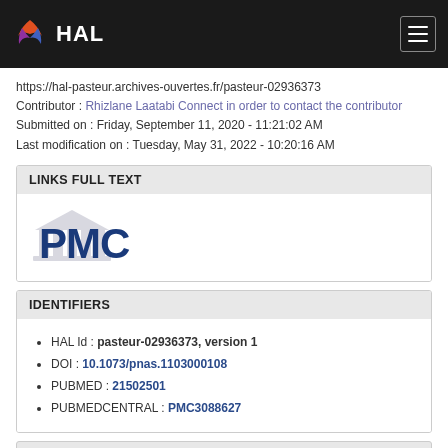HAL
https://hal-pasteur.archives-ouvertes.fr/pasteur-02936373
Contributor : Rhizlane Laatabi Connect in order to contact the contributor
Submitted on : Friday, September 11, 2020 - 11:21:02 AM
Last modification on : Tuesday, May 31, 2022 - 10:20:16 AM
LINKS FULL TEXT
[Figure (logo): PMC (PubMed Central) logo — stylized white column structure with blue bold letters PMC]
IDENTIFIERS
HAL Id : pasteur-02936373, version 1
DOI : 10.1073/pnas.1103000108
PUBMED : 21502501
PUBMEDCENTRAL : PMC3088627